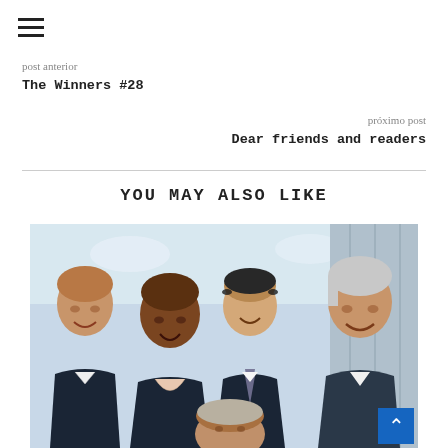☰
post anterior
The Winners #28
próximo post
Dear friends and readers
YOU MAY ALSO LIKE
[Figure (photo): Group photo of five smiling men in formal attire at an indoor event]